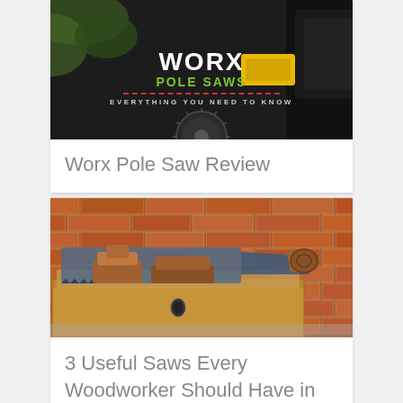[Figure (photo): WORX Pole Saws promotional image with dark background showing power tool, overlaid with text: WORX, POLE SAWS, EVERYTHING YOU NEED TO KNOW]
Worx Pole Saw Review
[Figure (photo): Vintage woodworking tools including hand saws and planes arranged in a wooden box against a brick wall background]
3 Useful Saws Every Woodworker Should Have in their Garage